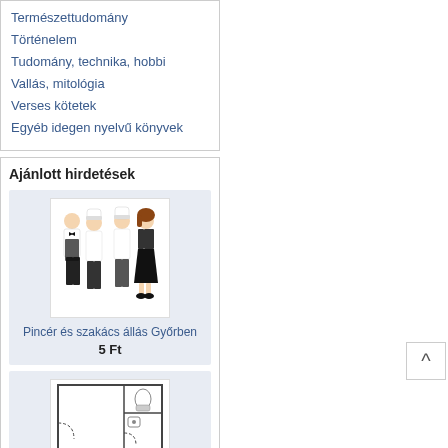Természettudomány
Történelem
Tudomány, technika, hobbi
Vallás, mitológia
Verses kötetek
Egyéb idegen nyelvű könyvek
Ajánlott hirdetések
[Figure (illustration): Illustration of restaurant staff: waiter, chef, cook, and waitress in uniform]
Pincér és szakács állás Győrben
5 Ft
[Figure (schematic): Floor plan / schematic drawing of a room or apartment layout]